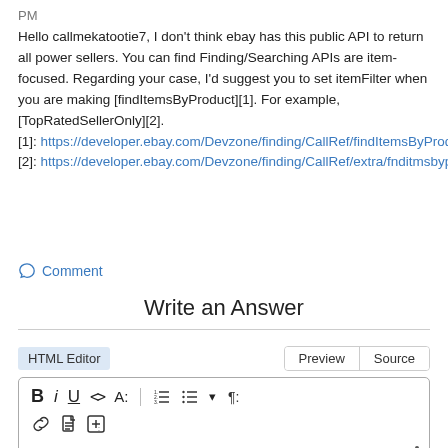PM
Hello callmekatootie7, I don't think ebay has this public API to return all power sellers. You can find Finding/Searching APIs are item-focused. Regarding your case, I'd suggest you to set itemFilter when you are making [findItemsByProduct][1]. For example, [TopRatedSellerOnly][2]. [1]: https://developer.ebay.com/Devzone/finding/CallRef/findItemsByProduct.html#Request.itemFilter [2]: https://developer.ebay.com/Devzone/finding/CallRef/extra/fnditmsbyprdct.rqst.tmfltr.nm.html
Comment
Write an Answer
[Figure (screenshot): HTML editor toolbar with formatting buttons: Bold, Italic, Underline, Code, Font, ordered list, unordered list, paragraph; second row with link, document, insert icons and a three-dot menu. Tab buttons: Preview, Source.]